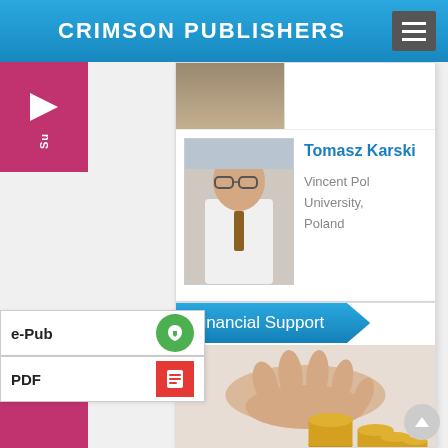CRIMSON PUBLISHERS
[Figure (photo): Partially cropped photo of a person at top of card]
Tomasz Karski
Vincent Pol University, Poland
[Figure (photo): Photo of Tomasz Karski, a man in white medical coat with glasses]
Financial Support
[Figure (photo): Hand placing coin on stacks of coins]
e-Pub
PDF